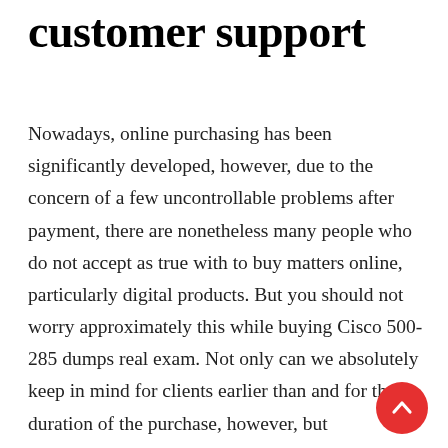customer support
Nowadays, online purchasing has been significantly developed, however, due to the concern of a few uncontrollable problems after payment, there are nonetheless many people who do not accept as true with to buy matters online, particularly digital products. But you should not worry approximately this while buying Cisco 500-285 dumps real exam. Not only can we absolutely keep in mind for clients earlier than and for the duration of the purchase, however, but CertificationsTime can also even offer you a warm and considerate service after payment. CertificationsTime has a unique technical customer support staff to solve all sorts of consumers
[Figure (other): Red circular scroll-to-top button with upward chevron arrow]